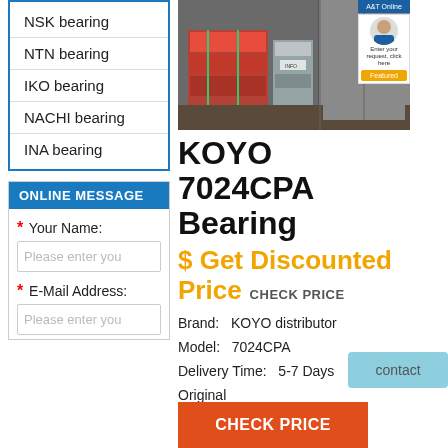NSK bearing
NTN bearing
IKO bearing
NACHI bearing
INA bearing
ONLINE MESSAGE
* Your Name:
Please enter you
* E-Mail Address:
Please enter you
[Figure (photo): Warehouse/shipping photo showing pallets of bearing boxes strapped with green straps inside a container]
KOYO 7024CPA Bearing
$ Get Discounted Price  CHECK PRICE
Brand:  KOYO distributor
Model:  7024CPA
Delivery Time:  5-7 Days
Original
✓in stock
contact
CHECK PRICE